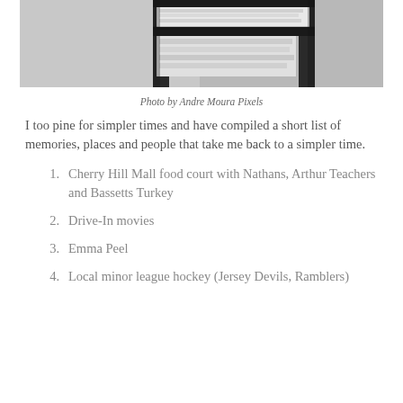[Figure (photo): Black and white photo of a shelf or rack with papers/documents stacked on it]
Photo by Andre Moura Pixels
I too pine for simpler times and have compiled a short list of memories, places and people that take me back to a simpler time.
Cherry Hill Mall food court with Nathans, Arthur Teachers and Bassetts Turkey
Drive-In movies
Emma Peel
Local minor league hockey (Jersey Devils, Ramblers)